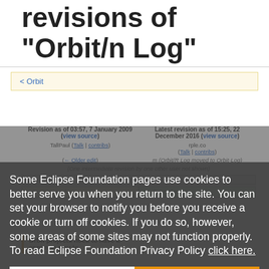revisions of "Orbit/n Log"
< Orbit
Revision as of 03:57, 7 January 2009 (view source)
Latest revision as of 15:25, 22 December 2016 (view source)
(One intermediate revision by one other user not shown)
Line 1:
==Background==
Line 1:
+= Overview =
Orbit projects need to have a common way to
Some Eclipse Foundation pages use cookies to better serve you when you return to the site. You can set your browser to notify you before you receive a cookie or turn off cookies. If you do so, however, some areas of some sites may not function properly. To read Eclipse Foundation Privacy Policy click here.
Decline
Allow cookies